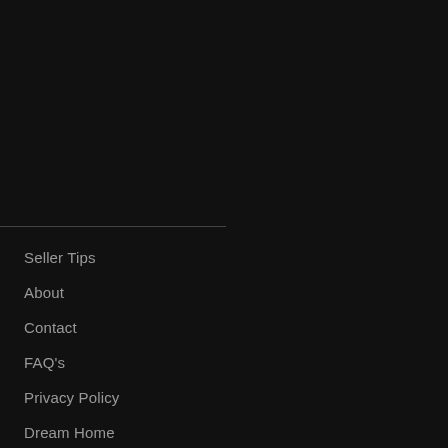Seller Tips
About
Contact
FAQ's
Privacy Policy
Dream Home